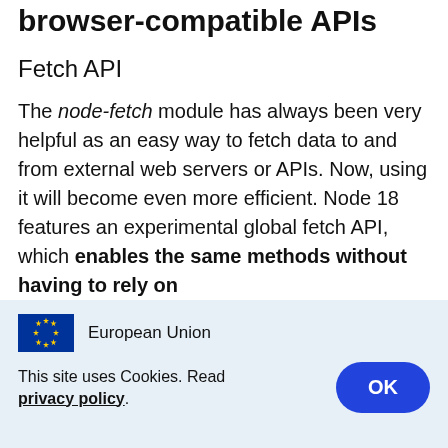browser-compatible APIs
Fetch API
The node-fetch module has always been very helpful as an easy way to fetch data to and from external web servers or APIs. Now, using it will become even more efficient. Node 18 features an experimental global fetch API, which enables the same methods without having to rely on
[Figure (logo): European Union flag logo with text 'European Union']
This site uses Cookies. Read privacy policy.